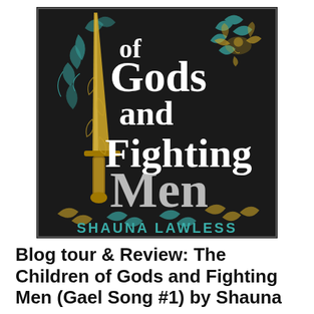[Figure (illustration): Book cover of 'Of Gods and Fighting Men' by Shauna Lawless. Dark/black background with large white serif text reading 'of Gods and Fighting Men'. A golden sword runs vertically on the left side. Decorative teal and gold botanical/floral illustrations surround the text. A golden winged bird motif in the upper right. Author name 'SHAUNA LAWLESS' in teal capital letters at the bottom.]
Blog tour & Review: The Children of Gods and Fighting Men (Gael Song #1) by Shauna